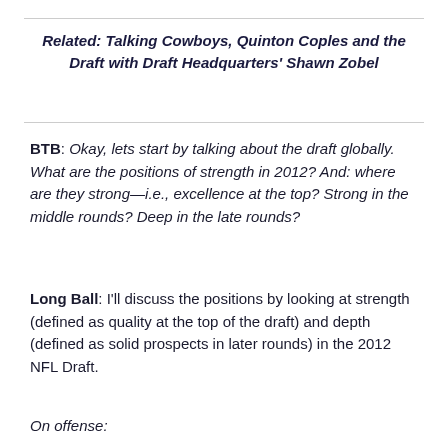Related: Talking Cowboys, Quinton Coples and the Draft with Draft Headquarters' Shawn Zobel
BTB: Okay, lets start by talking about the draft globally. What are the positions of strength in 2012? And: where are they strong—i.e., excellence at the top? Strong in the middle rounds? Deep in the late rounds?
Long Ball: I'll discuss the positions by looking at strength (defined as quality at the top of the draft) and depth (defined as solid prospects in later rounds) in the 2012 NFL Draft.
On offense: